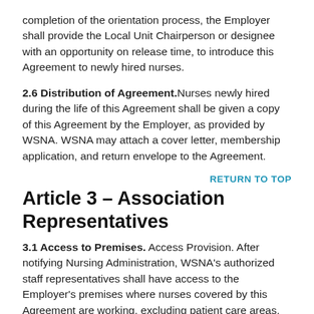completion of the orientation process, the Employer shall provide the Local Unit Chairperson or designee with an opportunity on release time, to introduce this Agreement to newly hired nurses.
2.6 Distribution of Agreement. Nurses newly hired during the life of this Agreement shall be given a copy of this Agreement by the Employer, as provided by WSNA. WSNA may attach a cover letter, membership application, and return envelope to the Agreement.
RETURN TO TOP
Article 3 – Association Representatives
3.1 Access to Premises. Access Provision. After notifying Nursing Administration, WSNA's authorized staff representatives shall have access to the Employer's premises where nurses covered by this Agreement are working, excluding patient care areas,